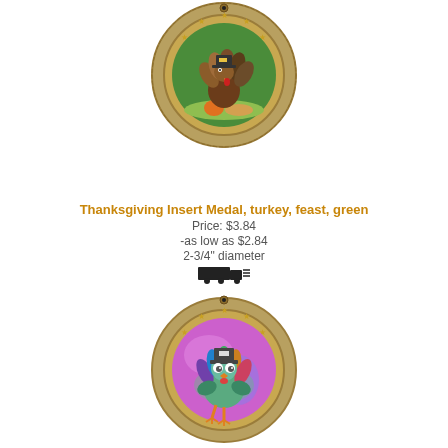[Figure (illustration): Partial truck/shipping icon at top of page]
[Figure (illustration): Round antique gold medal with stars border, green background insert showing a turkey in a pilgrim hat with Thanksgiving feast items (pumpkin, corn, food bowl)]
Thanksgiving Insert Medal, turkey, feast, green
Price: $3.84
-as low as $2.84
2-3/4" diameter
[Figure (illustration): Truck/shipping icon with lines]
[Figure (illustration): Round antique gold medal with stars border, pink/purple holographic background insert showing a cute cartoon turkey with teal feathers]